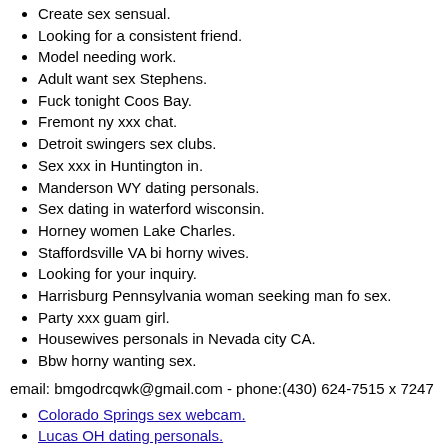Create sex sensual.
Looking for a consistent friend.
Model needing work.
Adult want sex Stephens.
Fuck tonight Coos Bay.
Fremont ny xxx chat.
Detroit swingers sex clubs.
Sex xxx in Huntington in.
Manderson WY dating personals.
Sex dating in waterford wisconsin.
Horney women Lake Charles.
Staffordsville VA bi horny wives.
Looking for your inquiry.
Harrisburg Pennsylvania woman seeking man fo sex.
Party xxx guam girl.
Housewives personals in Nevada city CA.
Bbw horny wanting sex.
email: bmgodrcqwk@gmail.com - phone:(430) 624-7515 x 7247
Colorado Springs sex webcam.
Lucas OH dating personals.
Derby and horny.
Oconto WI milf personals.
Discreet married Pleasant Hill.